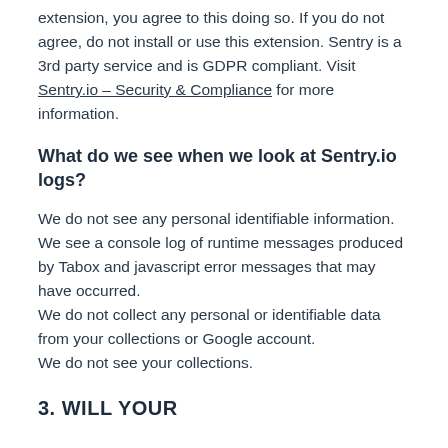extension, you agree to this doing so. If you do not agree, do not install or use this extension. Sentry is a 3rd party service and is GDPR compliant. Visit Sentry.io – Security & Compliance for more information.
What do we see when we look at Sentry.io logs?
We do not see any personal identifiable information. We see a console log of runtime messages produced by Tabox and javascript error messages that may have occurred.
We do not collect any personal or identifiable data from your collections or Google account.
We do not see your collections.
3. WILL YOUR